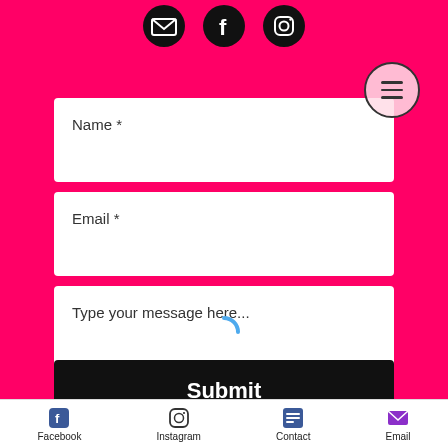[Figure (screenshot): Contact form on hot pink background with social media icons at top, hamburger menu button, Name field, Email field, message textarea, loading spinner, Submit button, and footer navigation with Facebook, Instagram, Contact, Email icons]
Name *
Email *
Type your message here...
Submit
Facebook  Instagram  Contact  Email